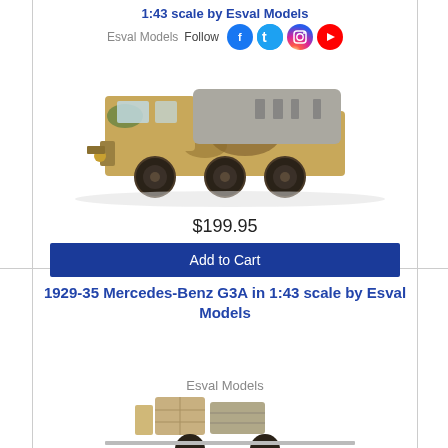1:43 scale by Esval Models
Esval Models Follow
[Figure (photo): Scale model of a WWII-era military truck in camouflage paint (yellow/green), 6-wheeled with canvas-covered cargo area, 1:43 scale by Esval Models]
$199.95
Add to Cart
1929-35 Mercedes-Benz G3A in 1:43 scale by Esval Models
Esval Models
[Figure (photo): Partial view of a scale model vehicle (1929-35 Mercedes-Benz G3A) showing the lower portion with wheels and cargo area]